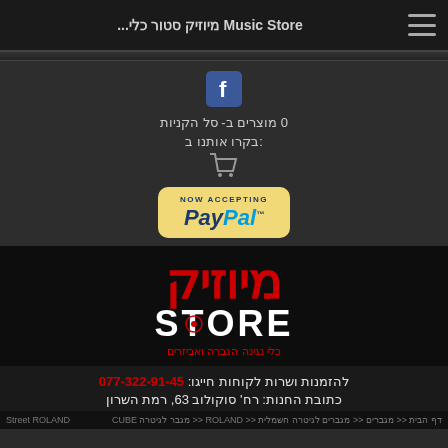Music Store מיוזיק סטור כלי...
[Figure (logo): Facebook icon button - blue square with white f]
0 מוצרים ב- סל הקניות
בקרו אותנו ב:
[Figure (logo): Shopping cart icon]
[Figure (logo): NOW ACCEPTING PayPal badge - gold/yellow rounded rectangle]
[Figure (logo): Music Store logo - red Hebrew text מיוזיק above white STORE text, subtitle כלי נגינה הגברה ואביזרים in red]
להזמנות ושרות לקוחות חייגו: 077-322-91-45
כתובת החנות: רח' סוקולוב 63, רמת השרון
דף הבית << מגברים << מגברים לגיטרה חשמלית << ROLAND << מגבר לגיטרה CUBE Street ROLAND